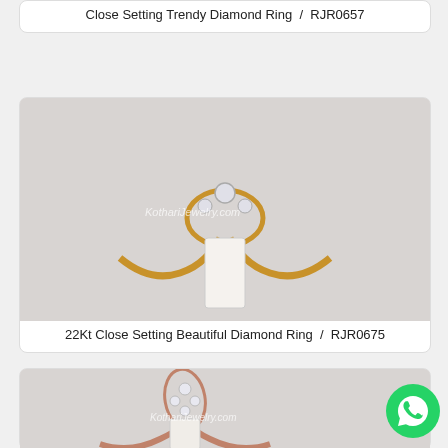Close Setting Trendy Diamond Ring  /  RJR0657
[Figure (photo): Gold diamond ring displayed on a white stand - 22Kt Close Setting Beautiful Diamond Ring]
22Kt Close Setting Beautiful Diamond Ring  /  RJR0675
[Figure (photo): Rose gold diamond ring with marquise cluster setting displayed on a white stand]
[Figure (logo): WhatsApp contact button (green circle with phone icon)]